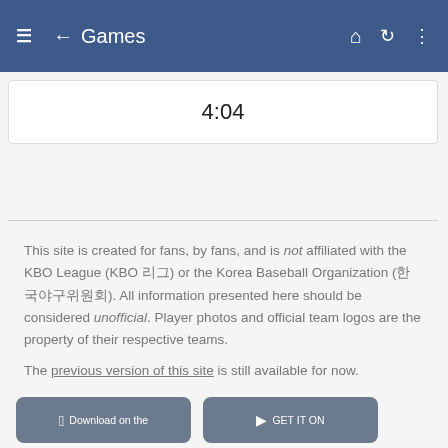≡ ← Games
4:04
This site is created for fans, by fans, and is not affiliated with the KBO League (KBO 리그) or the Korea Baseball Organization (한국야구위원회). All information presented here should be considered unofficial. Player photos and official team logos are the property of their respective teams.
The previous version of this site is still available for now.
MyKBO Stats v2 — Build 485 (2022-05-07)
Powered by Elixir and the Phoenix Framework.
Privacy Policy / Terms of Service
[Figure (screenshot): App store download buttons: 'Download on the App Store' and 'GET IT ON Google Play']